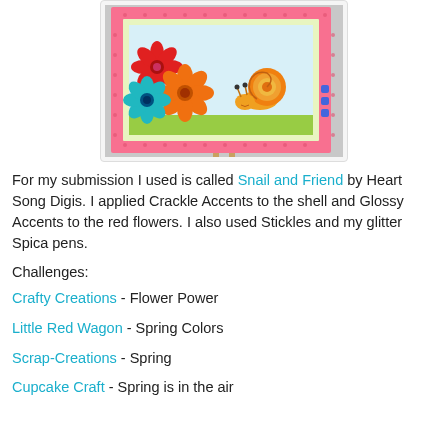[Figure (photo): A handmade craft card featuring a cartoon snail on a colorful background with pink polka-dot border, red and orange flowers with gem centers, displayed on a small easel.]
For my submission I used is called Snail and Friend by Heart Song Digis. I applied Crackle Accents to the shell and Glossy Accents to the red flowers. I also used Stickles and my glitter Spica pens.
Challenges:
Crafty Creations - Flower Power
Little Red Wagon - Spring Colors
Scrap-Creations - Spring
Cupcake Craft - Spring is in the air